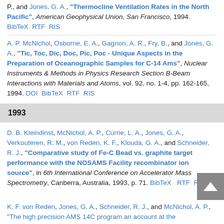P., and Jones, G. A., "Thermocline Ventilation Rates in the North Pacific", American Geophysical Union, San Francisco, 1994. BibTeX RTF RIS
A. P. McNichol, Osborne, E. A., Gagnon, A. R., Fry, B., and Jones, G. A., "Tic, Toc, Dic, Doc, Pic, Poc - Unique Aspects in the Preparation of Oceanographic Samples for C-14 Ams", Nuclear Instruments & Methods in Physics Research Section B-Beam Interactions with Materials and Atoms, vol. 92, no. 1-4, pp. 162-165, 1994. DOI BibTeX RTF RIS
1993
D. B. Kleindinst, McNichol, A. P., Currie, L. A., Jones, G. A., Verkouteren, R. M., von Reden, K. F., Klouda, G. A., and Schneider, R. J., "Comparative study of Fe-C Bead vs. graphite target performance with the NOSAMS Facility recombinator ion source", in 6th International Conference on Accelerator Mass Spectrometry, Canberra, Australia, 1993, p. 71. BibTeX RTF RIS
K. F. von Reden, Jones, G. A., Schneider, R. J., and McNichol, A. P., "The high precision AMS 14C program an account at the...